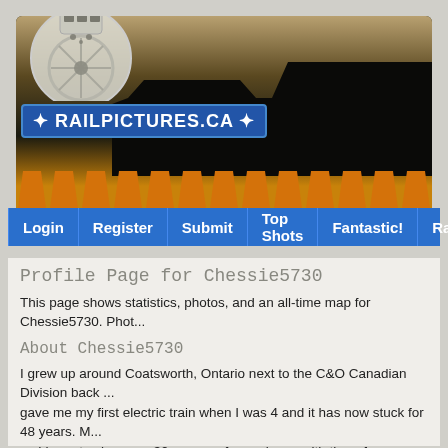[Figure (screenshot): RailPictures.ca website header banner with logo, train silhouette, and navigation bar showing Login, Register, Submit, Top Shots, Fantastic!, Random, F... menu items]
Profile Page for Chessie5730
This page shows statistics, photos, and an all-time map for Chessie5730. Phot...
About Chessie5730
I grew up around Coatsworth, Ontario next to the C&O Canadian Division back ... gave me my first electric train when I was 4 and it has now stuck for 48 years. M... so I hope to share my 30+ years of experience with them for many more years t...
Chessie5730's Railpictures.ca photo upload statistics
Number of images: 712
Total gold: 3874